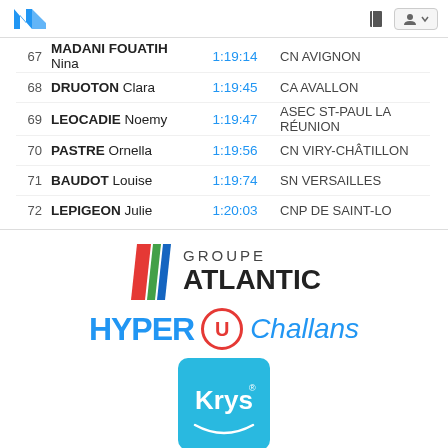Navigation header with logo and user icon
| Rank | Name | Time | Club |
| --- | --- | --- | --- |
| 67 | MADANI FOUATIH Nina | 1:19:14 | CN AVIGNON |
| 68 | DRUOTON Clara | 1:19:45 | CA AVALLON |
| 69 | LEOCADIE Noemy | 1:19:47 | ASEC ST-PAUL LA RÉUNION |
| 70 | PASTRE Ornella | 1:19:56 | CN VIRY-CHÂTILLON |
| 71 | BAUDOT Louise | 1:19:74 | SN VERSAILLES |
| 72 | LEPIGEON Julie | 1:20:03 | CNP DE SAINT-LO |
[Figure (logo): Groupe Atlantic logo with colored diagonal stripes]
[Figure (logo): Hyper U Challans logo]
[Figure (logo): Krys logo on blue background]